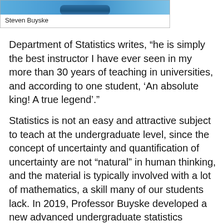[Figure (photo): Partial photo of Steven Buyske, showing a person against a blue background]
Steven Buyske
Department of Statistics writes, “he is simply the best instructor I have ever seen in my more than 30 years of teaching in universities, and according to one student, ‘An absolute king! A true legend’.”
Statistics is not an easy and attractive subject to teach at the undergraduate level, since the concept of uncertainty and quantification of uncertainty are not “natural” in human thinking, and the material is typically involved with a lot of mathematics, a skill many of our students lack. In 2019, Professor Buyske developed a new advanced undergraduate statistics course, “Bayesian Data Analysis” (01:960:365), that uniquely only requires Calculus I and Introduction to Statistics. The results were stunning. The first time the course was offered, the SIRS average was 4.33 on course quality and 4.44 on teaching effectiveness. The